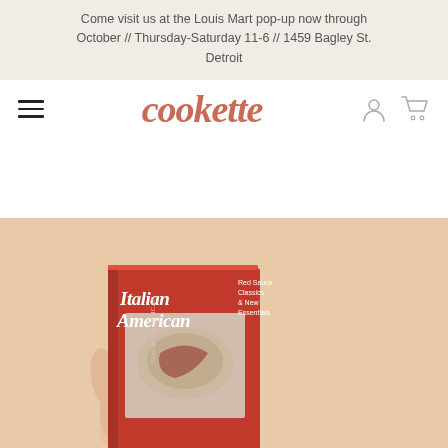Come visit us at the Louis Mart pop-up now through October // Thursday-Saturday 11-6 // 1459 Bagley St. Detroit
cookette
[Figure (photo): A hand holding a red hardcover book titled 'Italian American: Red Sauce Classics & New Essentials' against a warm peach/tan background. The book cover features large white italic text 'Italian American' and a dish of pasta visible on the cover.]